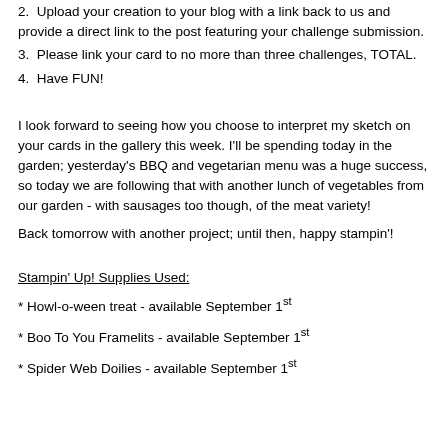2.  Upload your creation to your blog with a link back to us and provide a direct link to the post featuring your challenge submission.
3.  Please link your card to no more than three challenges, TOTAL.
4.  Have FUN!
I look forward to seeing how you choose to interpret my sketch on your cards in the gallery this week. I'll be spending today in the garden; yesterday's BBQ and vegetarian menu was a huge success, so today we are following that with another lunch of vegetables from our garden - with sausages too though, of the meat variety!
Back tomorrow with another project; until then, happy stampin'!
Stampin' Up! Supplies Used:
* Howl-o-ween treat - available September 1st
* Boo To You Framelits - available September 1st
* Spider Web Doilies - available September 1st